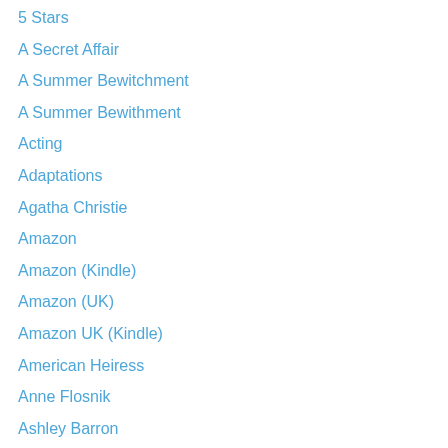5 Stars
A Secret Affair
A Summer Bewitchment
A Summer Bewithment
Acting
Adaptations
Agatha Christie
Amazon
Amazon (Kindle)
Amazon (UK)
Amazon UK (Kindle)
American Heiress
Anne Flosnik
Ashley Barron
Audiobooks
Author Brunch
Balogh
Barabara Rosenblat
Barnes and Noble
Believe